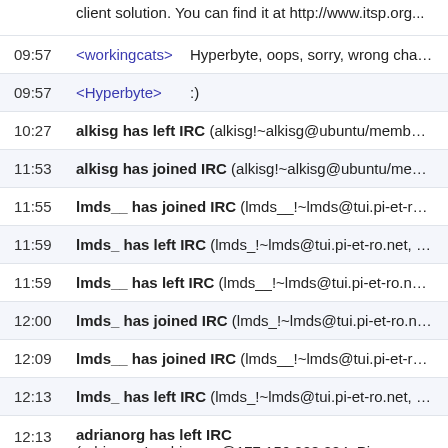09:57 <workingcats> Hyperbyte, oops, sorry, wrong channel
09:57 <Hyperbyte> :)
10:27 alkisg has left IRC (alkisg!~alkisg@ubuntu/member/alkisg, Quit: Lea...
11:53 alkisg has joined IRC (alkisg!~alkisg@ubuntu/member/alkisg)
11:55 lmds__ has joined IRC (lmds__!~lmds@tui.pi-et-ro.net)
11:59 lmds_ has left IRC (lmds_!~lmds@tui.pi-et-ro.net, Ping timeout: 256...
11:59 lmds__ has left IRC (lmds__!~lmds@tui.pi-et-ro.net, Ping timeout: 2...
12:00 lmds_ has joined IRC (lmds_!~lmds@tui.pi-et-ro.net)
12:09 lmds__ has joined IRC (lmds__!~lmds@tui.pi-et-ro.net)
12:13 lmds_ has left IRC (lmds_!~lmds@tui.pi-et-ro.net, Ping timeout: 252...
12:13 adrianorg has left IRC (adrianorg!~adrianorg@177.156.228.224, Ping timeout: ... seconds)
12:14 ... has joined IRC (...)